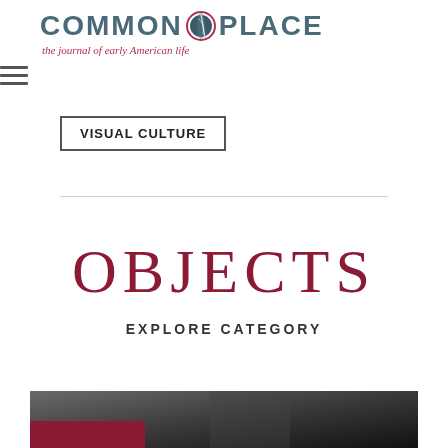COMMON PLACE - the journal of early American life
VISUAL CULTURE
OBJECTS
EXPLORE CATEGORY
[Figure (photo): Dark photograph, partially visible at bottom of page, with a dark background and a red element at the lower left]